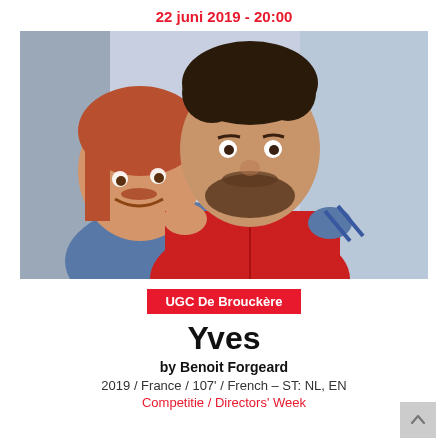22 juni 2019 - 20:00
[Figure (photo): Two men: one heavyset man with reddish hair smiling behind a younger man wearing a red hoodie, in an indoor setting]
UGC De Brouckère
Yves
by Benoit Forgeard
2019 / France / 107' / French – ST: NL, EN
Competitie / Directors' Week